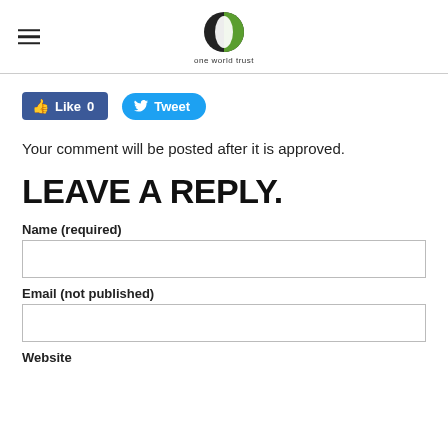one world trust
[Figure (logo): One World Trust logo - circle with black left half and green right half, text 'one world trust' below]
[Figure (infographic): Facebook Like button with count 0 and Twitter Tweet button]
Your comment will be posted after it is approved.
LEAVE A REPLY.
Name (required)
Email (not published)
Website